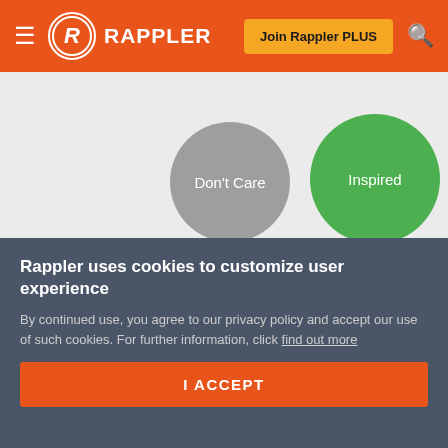Rappler — Join Rappler PLUS
[Figure (infographic): Emotion reaction circles on gray background: Don't Care (gray), Inspired (green), Afraid (yellow-green), Amused (cyan/teal), Annoyed (mauve/purple)]
[Figure (logo): CommuniCart advertisement banner with logo and tagline: Community creations you can add to cart]
Rappler uses cookies to customize user experience
By continued use, you agree to our privacy policy and accept our use of such cookies. For further information, click find out more
I ACCEPT